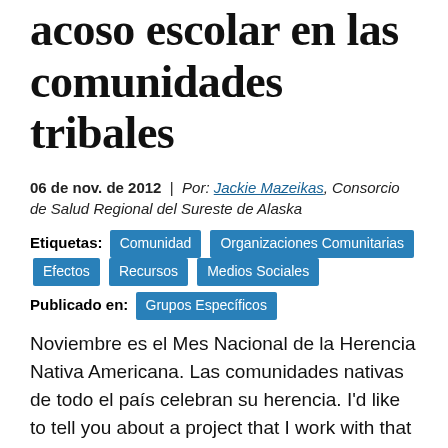acoso escolar en las comunidades tribales
06 de nov. de 2012 | Por: Jackie Mazeikas, Consorcio de Salud Regional del Sureste de Alaska
Etiquetas: Comunidad  Organizaciones Comunitarias  Efectos  Recursos  Medios Sociales
Publicado en: Grupos Específicos
Noviembre es el Mes Nacional de la Herencia Nativa Americana. Las comunidades nativas de todo el país celebran su herencia. I'd like to tell you about a project that I work with that is addressing the issue of bullying